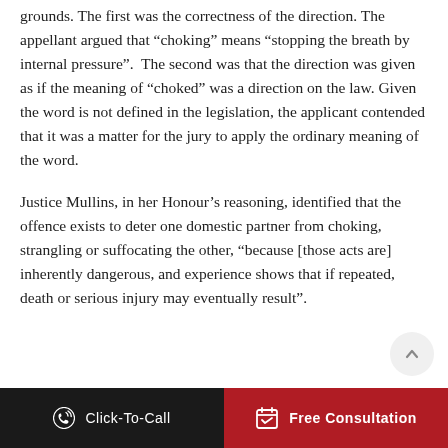grounds. The first was the correctness of the direction. The appellant argued that “choking” means “stopping the breath by internal pressure”.  The second was that the direction was given as if the meaning of “choked” was a direction on the law. Given the word is not defined in the legislation, the applicant contended that it was a matter for the jury to apply the ordinary meaning of the word.
Justice Mullins, in her Honour’s reasoning, identified that the offence exists to deter one domestic partner from choking, strangling or suffocating the other, “because [those acts are] inherently dangerous, and experience shows that if repeated, death or serious injury may eventually result”.
Click-To-Call   Free Consultation